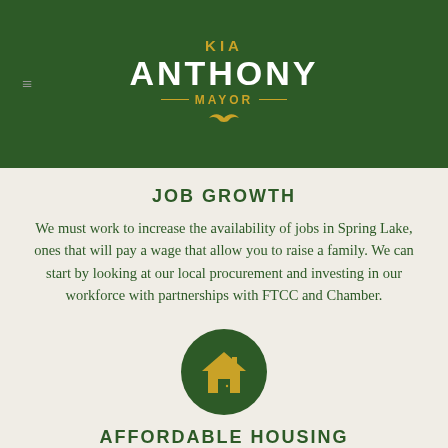[Figure (logo): Kia Anthony Mayor campaign logo — white 'ANTHONY' text with gold 'KIA' above and gold 'MAYOR' below with decorative lines, on dark green background]
JOB GROWTH
We must work to increase the availability of jobs in Spring Lake, ones that will pay a wage that allow you to raise a family. We can start by looking at our local procurement and investing in our workforce with partnerships with FTCC and Chamber.
[Figure (illustration): Gold house icon on a dark green circle background]
AFFORDABLE HOUSING
Spring Lake has over 1,500 of our neighbors that